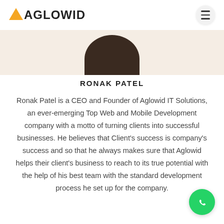AGLOWID
[Figure (photo): Partial photo of Ronak Patel (top of head, dark background), cropped circle at top of profile card]
RONAK PATEL
Ronak Patel is a CEO and Founder of Aglowid IT Solutions, an ever-emerging Top Web and Mobile Development company with a motto of turning clients into successful businesses. He believes that Client's success is company's success and so that he always makes sure that Aglowid helps their client's business to reach to its true potential with the help of his best team with the standard development process he set up for the company.
[Figure (logo): WhatsApp floating button (green circle with phone icon)]